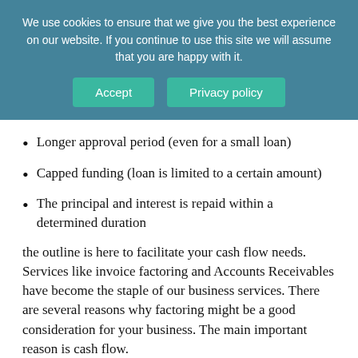We use cookies to ensure that we give you the best experience on our website. If you continue to use this site we will assume that you are happy with it.
Longer approval period (even for a small loan)
Capped funding (loan is limited to a certain amount)
The principal and interest is repaid within a determined duration
the outline is here to facilitate your cash flow needs. Services like invoice factoring and Accounts Receivables have become the staple of our business services. There are several reasons why factoring might be a good consideration for your business. The main important reason is cash flow.
A form of financing that doesn't put a strain on a